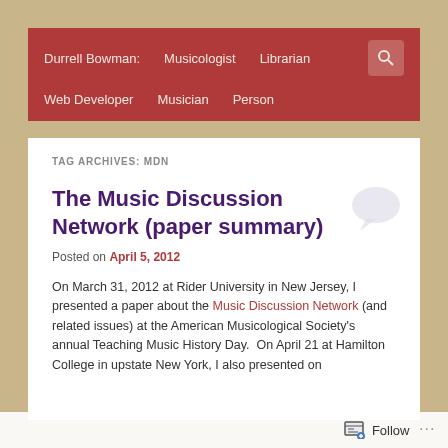Durrell Bowman: Musicologist Librarian Web Developer Musician Person
TAG ARCHIVES: MDN
The Music Discussion Network (paper summary)
Posted on April 5, 2012
On March 31, 2012 at Rider University in New Jersey, I presented a paper about the Music Discussion Network (and related issues) at the American Musicological Society's annual Teaching Music History Day. On April 21 at Hamilton College in upstate New York, I also presented on
Follow ...